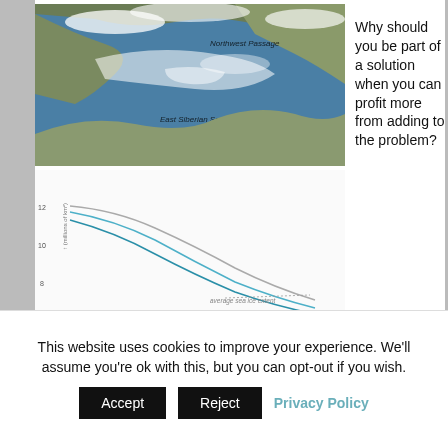[Figure (map): Satellite/aerial map showing Arctic region with labels 'Northwest Passage' and 'East Siberian Sea', showing ice-covered ocean areas.]
[Figure (continuous-plot): Line chart showing declining sea ice extent over time, with multiple curves (grey and blue lines) trending downward. Y-axis shows values around 6-12 (millions of km²). Label reads 'average sea ice extent'.]
Why should you be part of a solution when you can profit more from adding to the problem?
This seems to be the defining question of my generation, a generation which in my opinion, in the rear-view mirror of history, will equal the infamous Nero generation who fiddled away the Roman Empire. In 1969 Pollution […]
FILED UNDER: ECO
This website uses cookies to improve your experience. We'll assume you're ok with this, but you can opt-out if you wish.